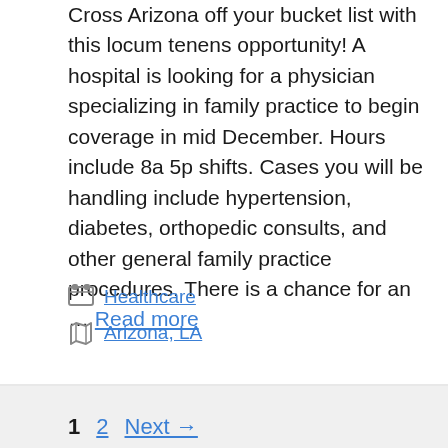Cross Arizona off your bucket list with this locum tenens opportunity! A hospital is looking for a physician specializing in family practice to begin coverage in mid December. Hours include 8a 5p shifts. Cases you will be handling include hypertension, diabetes, orthopedic consults, and other general family practice procedures. There is a chance for an … Read more
Healthcare
Arizona, LA
1  2  Next →